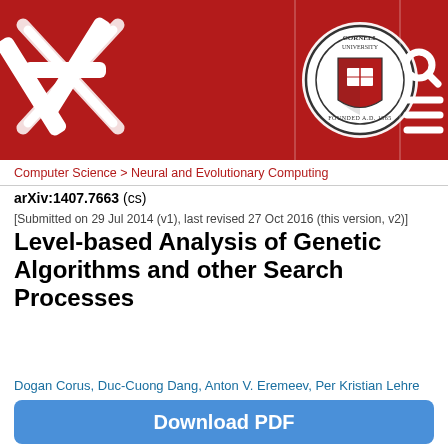[Figure (logo): arXiv and Cornell University header banner with arXiv logo (crossed pencils), Cornell University seal, search icon, and hamburger menu icon on dark red background]
Computer Science > Neural and Evolutionary Computing
arXiv:1407.7663 (cs)
[Submitted on 29 Jul 2014 (v1), last revised 27 Oct 2016 (this version, v2)]
Level-based Analysis of Genetic Algorithms and other Search Processes
Dogan Corus, Duc-Cuong Dang, Anton V. Eremeev, Per Kristian Lehre
Download PDF
Understanding how the time-complexity of evolutionary algorithms (EAs) depend on their parameter settings and characteristics of fitness landscapes is a fundamental problem in evolutionary computation. Most rigorous results were derived using a handful of key analytic techniques, including drift analysis. However, since few of these techniques apply effortlessly to population-based EAs, most